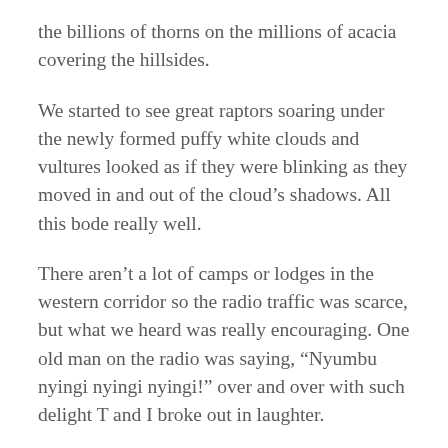the billions of thorns on the millions of acacia covering the hillsides.
We started to see great raptors soaring under the newly formed puffy white clouds and vultures looked as if they were blinking as they moved in and out of the cloud’s shadows. All this bode really well.
There aren’t a lot of camps or lodges in the western corridor so the radio traffic was scarce, but what we heard was really encouraging. One old man on the radio was saying, “Nyumbu nyingi nyingi nyingi!” over and over with such delight T and I broke out in laughter.
My heart dropped a beat just slightly when we hit